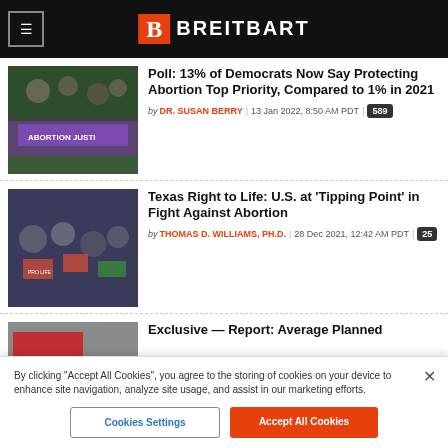Breitbart
[Figure (photo): Abortion rights protest march with banner reading ABORTION JUSTICE]
Poll: 13% of Democrats Now Say Protecting Abortion Top Priority, Compared to 1% in 2021
by DR. SUSAN BERRY | 13 Jan 2022, 8:50 AM PDT | 589
[Figure (photo): Pro-life rally crowd with signs]
Texas Right to Life: U.S. at ‘Tipping Point’ in Fight Against Abortion
by THOMAS D. WILLIAMS, PH.D. | 28 Dec 2021, 12:42 AM PDT | 25
[Figure (photo): DEFUND sign at protest]
Exclusive — Report: Average Planned
By clicking “Accept All Cookies”, you agree to the storing of cookies on your device to enhance site navigation, analyze site usage, and assist in our marketing efforts.
Cookies Settings
Accept All Cookies